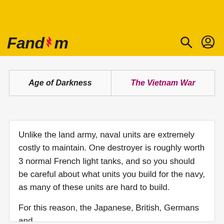Fandom
| Age of Darkness | The Vietnam War |
| --- | --- |
Unlike the land army, naval units are extremely costly to maintain. One destroyer is roughly worth 3 normal French light tanks, and so you should be careful about what units you build for the navy, as many of these units are hard to build.
For this reason, the Japanese, British, Germans and